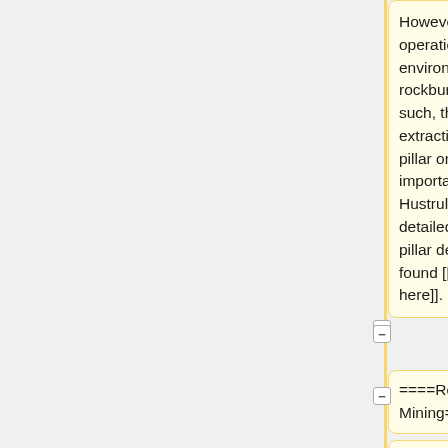However, very deep operations in high stress environments may have rockburst issues. As such, the sequence of extraction in addition to pillar orientation is important (Bullock and Hustrulid, 2001). A more detailed discussion on pillar design can be found [[Pillar design | here]].
====Room and Pillar Mining====
[[Hard-rock room and pillar | Room